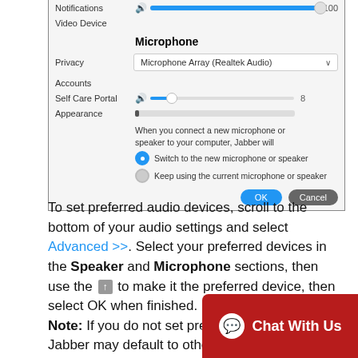[Figure (screenshot): Jabber audio settings dialog showing Microphone section with device dropdown 'Microphone Array (Realtek Audio)', sliders, radio buttons for device switching preference, and OK/Cancel buttons.]
To set preferred audio devices, scroll to the bottom of your audio settings and select Advanced >>. Select your preferred devices in the Speaker and Microphone sections, then use the ↑ to make it the preferred device, then select OK when finished.
Note: If you do not set preferred devices, Jabber may default to other options when...